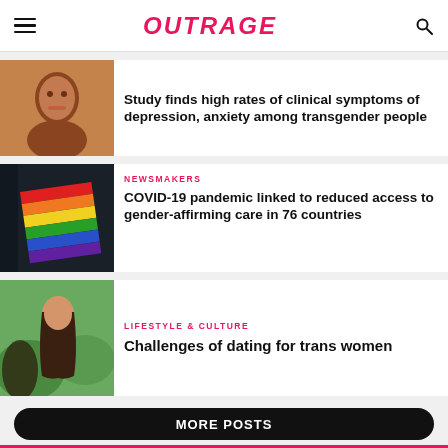OUTRAGE
Study finds high rates of clinical symptoms of depression, anxiety among transgender people
[Figure (photo): Close-up photo of a person]
NEWSMAKERS
COVID-19 pandemic linked to reduced access to gender-affirming care in 76 countries
[Figure (photo): Rainbow pride flag hanging outdoors with dark background]
LIFESTYLE & CULTURE
Challenges of dating for trans women
[Figure (photo): A woman with long brown hair outdoors]
MORE POSTS